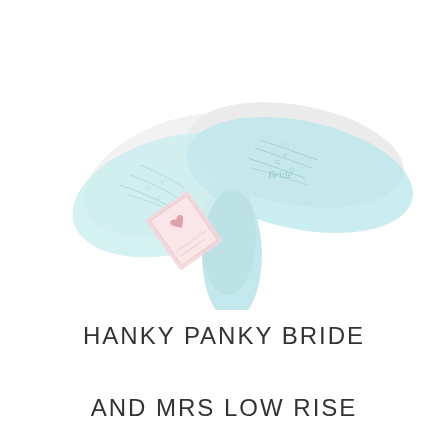[Figure (photo): Two delicate lace thongs — one white and one light blue/mint — overlapping each other with cursive text embroidery. A small pink gift tag or label with a heart is visible in the lower left. The garments appear airy and soft, with lace detailing throughout.]
HANKY PANKY BRIDE AND MRS LOW RISE